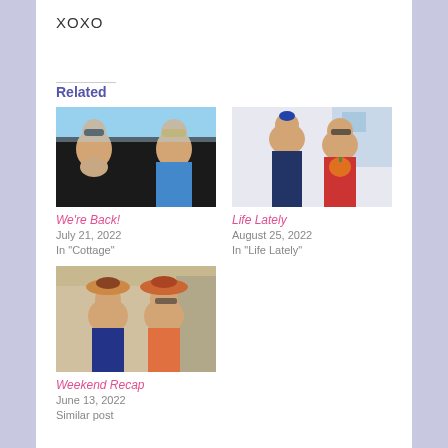XOXO
Related
[Figure (photo): A couple in a car, woman holding a small dog, man wearing sunglasses]
We're Back!
July 21, 2022
In "Cottage"
[Figure (photo): Two young girls smiling, one holding an orange pumpkin]
Life Lately
August 25, 2022
In "Life Lately"
[Figure (photo): Two young girls wearing hats and smiling]
Weekend Recap
June 13, 2022
Similar post